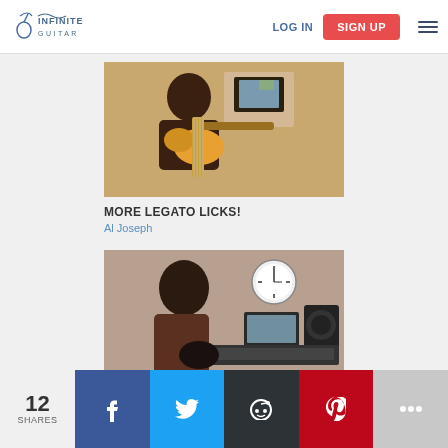Infinite Guitar | LOG IN | SIGN UP
[Figure (photo): Person playing electric guitar in a recording studio setting]
MORE LEGATO LICKS!
Al Joseph
[Figure (photo): Person in a recording studio with equipment and clock visible]
12 SHARES | Facebook | Twitter | Reddit | Pinterest | More